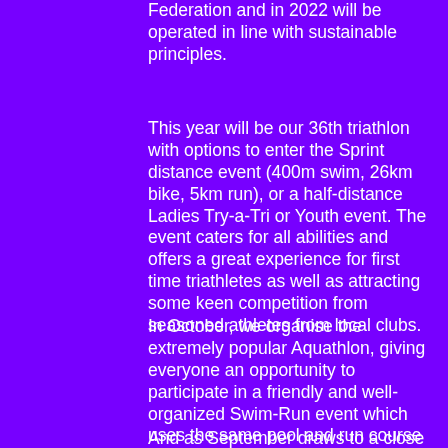Federation and in 2022 will be operated in line with sustainable principles.
This year will be our 36th triathlon with options to enter the Sprint distance event (400m swim, 26km bike, 5km run), or a half-distance Ladies Try-a-Tri or Youth event. The event caters for all abilities and offers a great experience for first time triathletes as well as attracting some keen competition from seasoned athletes from local clubs.
In October, we organise the extremely popular Aquathlon, giving everyone an opportunity to participate in a friendly and well- organized Swim-Run event which uses the same pool and run course as the EG Tri and a last chance to squeeze in a quick multisport  race before the winter sets in.
And as September draws to a close we